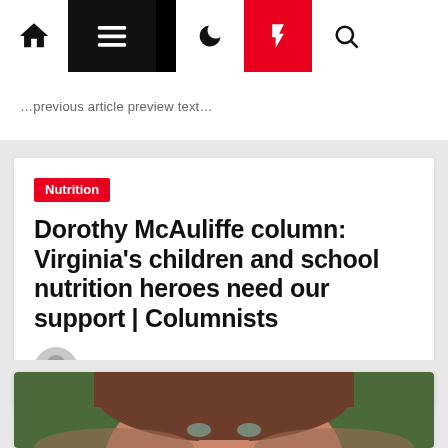Navigation bar with home, menu, dark mode, flash, and search icons
...previous article preview text...
Nutrition
Dorothy McAuliffe column: Virginia's children and school nutrition heroes need our support | Columnists
2 years ago
[Figure (photo): Headshot photo of Dorothy McAuliffe, a woman with brown hair and light eyes, photographed outdoors with a green background]